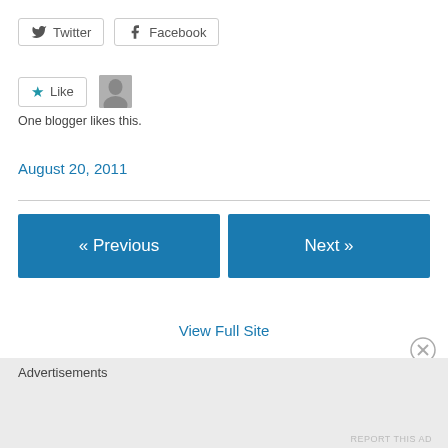[Figure (other): Twitter and Facebook social share buttons]
[Figure (other): Like button with star icon and user avatar, with text 'One blogger likes this.']
August 20, 2011
[Figure (other): Navigation buttons: « Previous and Next »]
View Full Site
Advertisements
REPORT THIS AD